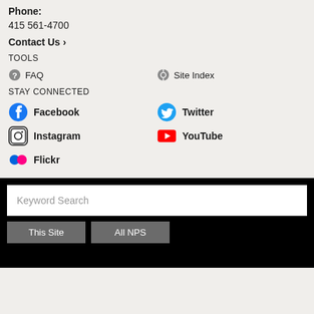Phone:
415 561-4700
Contact Us ›
TOOLS
FAQ
Site Index
STAY CONNECTED
Facebook
Twitter
Instagram
YouTube
Flickr
Keyword Search
This Site
All NPS